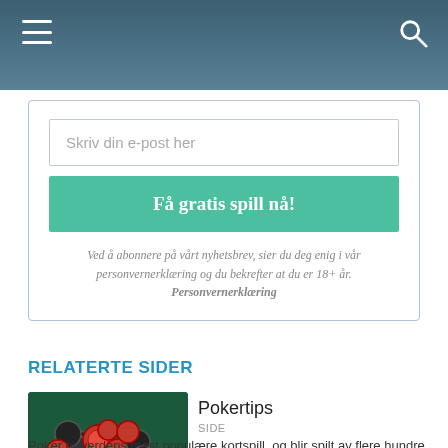Skriv din e-post her
Få gratis spill nå!
Ved å abonnere på vårt nyhetsbrev, sier du deg enig i vår personvernerklæring og du bekrefter at du er 18+ år. Personvernerklæring
RELATERTE SIDER
[Figure (photo): Poker chips stacked on a green felt table with playing cards visible underneath]
Pokertips
SIDE
Poker er verdens mest populære kortspill, og blir spilt av flere hundre tusen